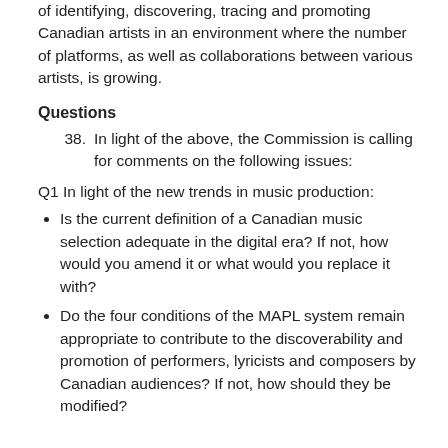of identifying, discovering, tracing and promoting Canadian artists in an environment where the number of platforms, as well as collaborations between various artists, is growing.
Questions
38. In light of the above, the Commission is calling for comments on the following issues:
Q1 In light of the new trends in music production:
Is the current definition of a Canadian music selection adequate in the digital era? If not, how would you amend it or what would you replace it with?
Do the four conditions of the MAPL system remain appropriate to contribute to the discoverability and promotion of performers, lyricists and composers by Canadian audiences? If not, how should they be modified?